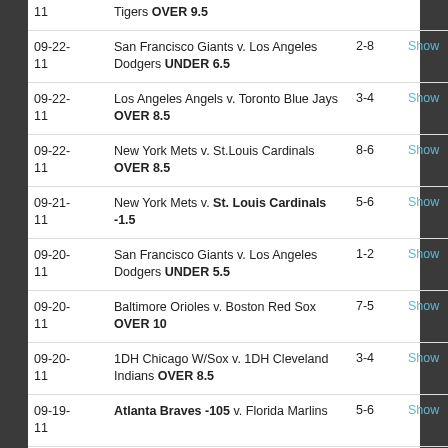| Date | Game | Score | Action |
| --- | --- | --- | --- |
| 11 | Tigers OVER 9.5 |  |  |
| 09-22-11 | San Francisco Giants v. Los Angeles Dodgers UNDER 6.5 | 2-8 | Show |
| 09-22-11 | Los Angeles Angels v. Toronto Blue Jays OVER 8.5 | 3-4 | Show |
| 09-22-11 | New York Mets v. St.Louis Cardinals OVER 8.5 | 8-6 | Show |
| 09-21-11 | New York Mets v. St. Louis Cardinals -1.5 | 5-6 | Show |
| 09-20-11 | San Francisco Giants v. Los Angeles Dodgers UNDER 5.5 | 1-2 | Show |
| 09-20-11 | Baltimore Orioles v. Boston Red Sox OVER 10 | 7-5 | Show |
| 09-20-11 | 1DH Chicago W/Sox v. 1DH Cleveland Indians OVER 8.5 | 3-4 | Show |
| 09-19-11 | Atlanta Braves -105 v. Florida Marlins | 5-6 | Show |
| 09-18- | Cleveland Indians v. | 6-5 | Show |